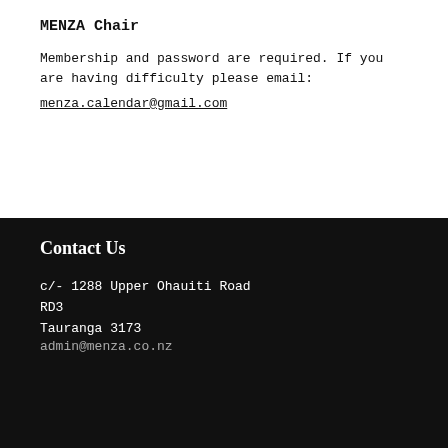MENZA Chair
Membership and password are required. If you are having difficulty please email:
menza.calendar@gmail.com
Contact Us
c/- 1288 Upper Ohauiti Road
RD3
Tauranga 3173
admin@menza.co.nz